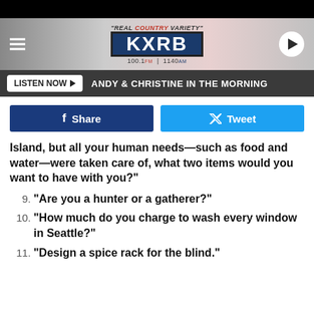[Figure (screenshot): KXRB radio station header banner with logo, hamburger menu, and play button]
LISTEN NOW ▶  ANDY & CHRISTINE IN THE MORNING
f Share   🐦 Tweet
Island, but all your human needs—such as food and water—were taken care of, what two items would you want to have with you?
9. "Are you a hunter or a gatherer?"
10. "How much do you charge to wash every window in Seattle?"
11. "Design a spice rack for the blind."